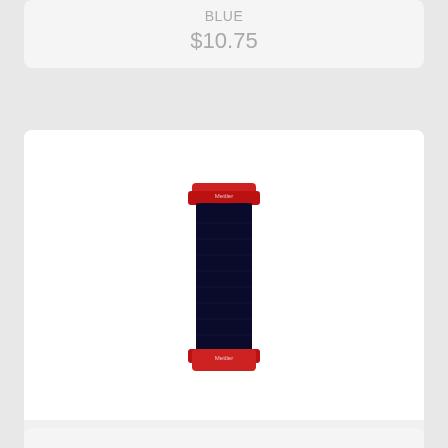BLUE
$10.75
[Figure (photo): A spool of Metrosene Plus Thread 1000m in Darkest Blue color, with a red top and bottom cap and dark navy thread wound around the body.]
Metrosene Plus Thread 1000m DARKEST BLUE
$10.75